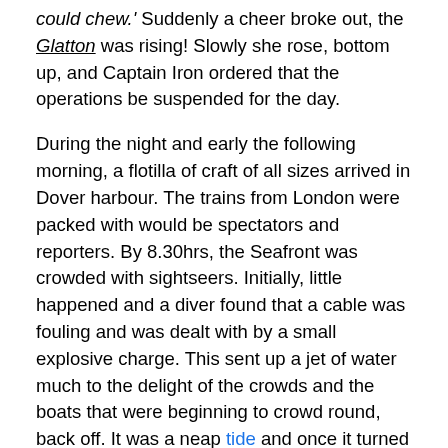could chew.' Suddenly a cheer broke out, the Glatton was rising! Slowly she rose, bottom up, and Captain Iron ordered that the operations be suspended for the day.
During the night and early the following morning, a flotilla of craft of all sizes arrived in Dover harbour. The trains from London were packed with would be spectators and reporters. By 8.30hrs, the Seafront was crowded with sightseers. Initially, little happened and a diver found that a cable was fouling and was dealt with by a small explosive charge. This sent up a jet of water much to the delight of the crowds and the boats that were beginning to crowd round, back off. It was a neap tide and once it turned at 10.30hrs slowly, the Glatton started to move. She was towed towards the eastern Dockyard until the tide began to ebb. That night, when the tide was right, she was